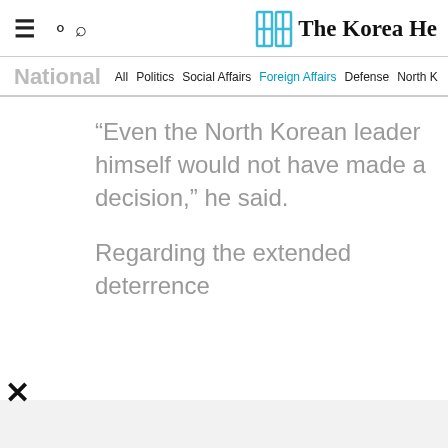≡ 🔍 The Korea He
National  All  Politics  Social Affairs  Foreign Affairs  Defense  North Korea  Hw
“Even the North Korean leader himself would not have made a decision,” he said.
Regarding the extended deterrence